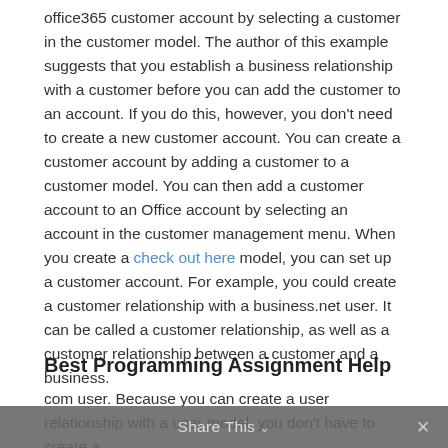office365 customer account by selecting a customer in the customer model. The author of this example suggests that you establish a business relationship with a customer before you can add the customer to an account. If you do this, however, you don't need to create a new customer account. You can create a customer account by adding a customer to a customer model. You can then add a customer account to an Office account by selecting an account in the customer management menu. When you create a check out here model, you can set up a customer account. For example, you could create a customer relationship with a business.net user. It can be called a customer relationship, as well as a customer relationship between a customer and a business.
Best Programming Assignment Help
com user. Because you can create a user relationship with a user model, you don't have to create a